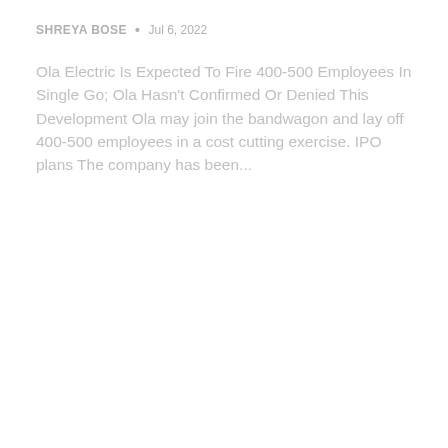SHREYA BOSE • Jul 6, 2022
Ola Electric Is Expected To Fire 400-500 Employees In Single Go; Ola Hasn't Confirmed Or Denied This Development Ola may join the bandwagon and lay off 400-500 employees in a cost cutting exercise. IPO plans The company has been...